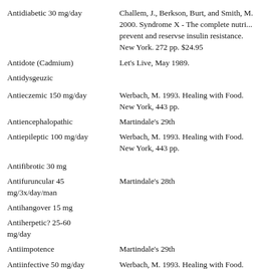Antidiabetic 30 mg/day
Challem, J., Berkson, Burt, and Smith, 2000. Syndrome X - The complete nutri... prevent and reservse insulin resistance. New York. 272 pp. $24.95
Antidote (Cadmium)
Let's Live, May 1989.
Antidysgeuzic
Antieczemic 150 mg/day
Werbach, M. 1993. Healing with Food. New York, 443 pp.
Antiencephalopathic
Martindale's 29th
Antiepileptic 100 mg/day
Werbach, M. 1993. Healing with Food. New York, 443 pp.
Antifibrotic 30 mg
Antifuruncular 45 mg/3x/day/man
Martindale's 28th
Antihangover 15 mg
Antiherpetic? 25-60 mg/day
Antiimpotence
Martindale's 29th
Antiinfective 50 mg/day
Werbach, M. 1993. Healing with Food. New York, 443 pp.
Antiinfertility 60 mg/day
Werbach, M. 1993. Healing with Food. New York, 443 pp.